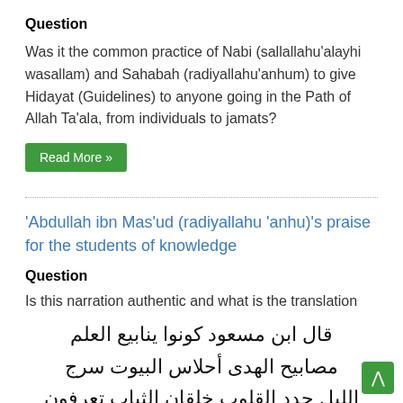Question
Was it the common practice of Nabi (sallallahu'alayhi wasallam) and Sahabah (radiyallahu'anhum) to give Hidayat (Guidelines) to anyone going in the Path of Allah Ta'ala, from individuals to jamats?
Read More »
'Abdullah ibn Mas'ud (radiyallahu 'anhu)'s praise for the students of knowledge
Question
Is this narration authentic and what is the translation
قال ابن مسعود كونوا ينابيع العلم مصابيح الهدى أحلاس البيوت سرج الليل جدد القلوب خلقان الثياب تعرفون